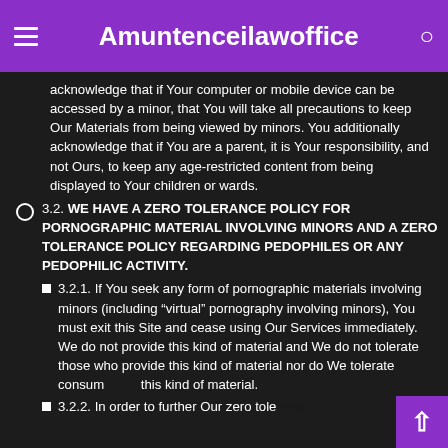Amuntenceilawoffice
acknowledge that if Your computer or mobile device can be accessed by a minor, that You will take all precautions to keep Our Materials from being viewed by minors. You additionally acknowledge that if You are a parent, it is Your responsibility, and not Ours, to keep any age-restricted content from being displayed to Your children or wards.
3.2. WE HAVE A ZERO TOLERANCE POLICY FOR PORNOGRAPHIC MATERIAL INVOLVING MINORS AND A ZERO TOLERANCE POLICY REGARDING PEDOPHILES OR ANY PEDOPHILIC ACTIVITY.
3.2.1. If You seek any form of pornographic materials involving minors (including “virtual” pornography involving minors), You must exit this Site and cease using Our Services immediately. We do not provide this kind of material and We do not tolerate those who provide this kind of material nor do We tolerate consumers of this kind of material.
3.2.2. In order to further Our zero tolerance...